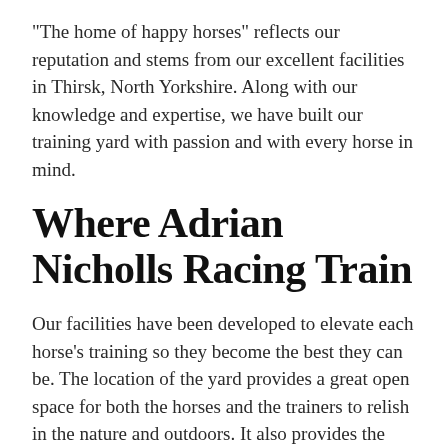“The home of happy horses” reflects our reputation and stems from our excellent facilities in Thirsk, North Yorkshire. Along with our knowledge and expertise, we have built our training yard with passion and with every horse in mind.
Where Adrian Nicholls Racing Train
Our facilities have been developed to elevate each horse’s training so they become the best they can be. The location of the yard provides a great open space for both the horses and the trainers to relish in the nature and outdoors. It also provides the ultimate campus to deliver outstanding training facilities.